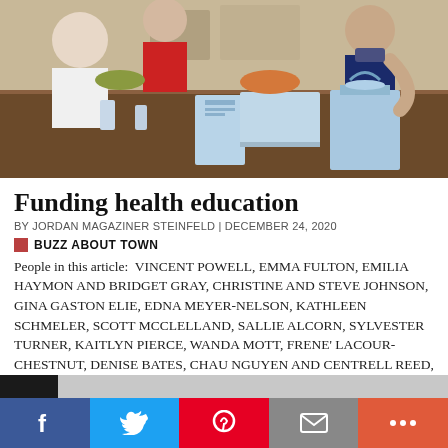[Figure (photo): People sitting around a dining table with food, drinks, and gift bags, some wearing masks.]
Funding health education
BY JORDAN MAGAZINER STEINFELD | DECEMBER 24, 2020
BUZZ ABOUT TOWN
People in this article: VINCENT POWELL, EMMA FULTON, EMILIA HAYMON AND BRIDGET GRAY, CHRISTINE AND STEVE JOHNSON, GINA GASTON ELIE, EDNA MEYER-NELSON, KATHLEEN SCHMELER, SCOTT MCCLELLAND, SALLIE ALCORN, SYLVESTER TURNER, KAITLYN PIERCE, WANDA MOTT, FRENE' LACOUR-CHESTNUT, DENISE BATES, CHAU NGUYEN AND CENTRELL REED, ANA ZELAYA AND ELLIOTT KEYMOLEN
[Figure (photo): Partially visible next article photo strip at the bottom.]
Social share bar: Facebook, Twitter, Pinterest, Email, More